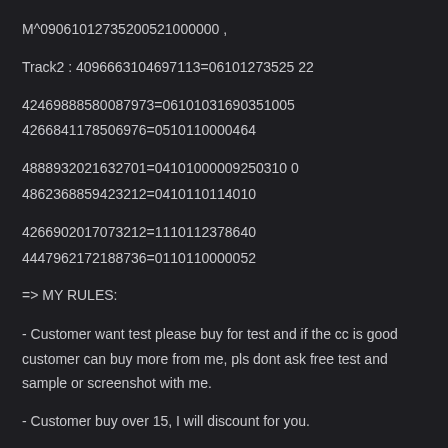M^09061012735200521000000 ,
Track2 : 4096663104697113=06101273525 22
42469888580087973=06101031690351005
4266841178506976=0510110000464
4888932021632701=04101000009250310 0
4862368859423212=0410110114010
4266902017073212=1110112378640
4447962172188736=0110110000052
=> MY RULES:
- Customer want test please buy for test and if the cc is good customer can buy more from me, pls dont ask free test and sample or screenshot with me.
- Customer buy over 15, I will discount for you.